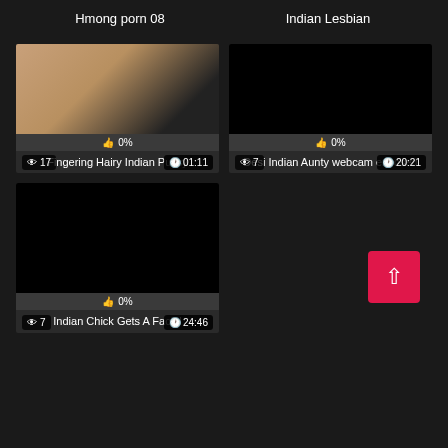Hmong porn 08
Indian Lesbian
[Figure (photo): Video thumbnail - flesh toned blurry image]
👁 17   🕐01:11
👍 0%
Fingering Hairy Indian Pussy
[Figure (photo): Video thumbnail - black/dark screen]
👁 7   🕐20:21
👍 0%
Desi Indian Aunty webcam exposed
[Figure (photo): Video thumbnail - black/dark screen]
👁 7   🕐24:46
👍 0%
Indian Chick Gets A Facial